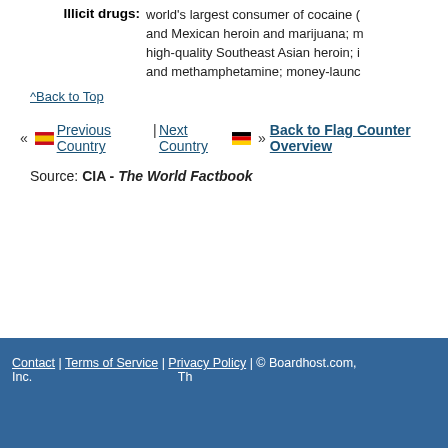Illicit drugs: world's largest consumer of cocaine (and Mexican heroin and marijuana; high-quality Southeast Asian heroin; and methamphetamine; money-laun...
^Back to Top
« [Spain flag] Previous Country | Next Country [Germany flag] » Back to Flag Counter Overview
Source: CIA - The World Factbook
Contact | Terms of Service | Privacy Policy | © Boardhost.com, Inc.   Th...